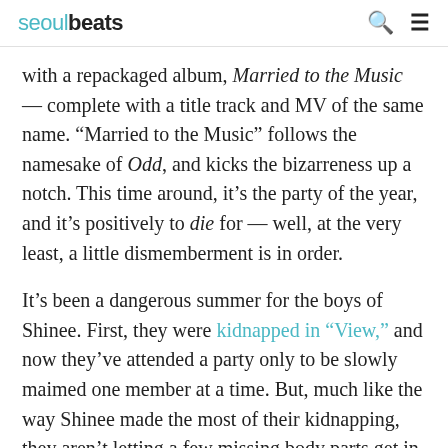seoulbeats
with a repackaged album, Married to the Music — complete with a title track and MV of the same name. “Married to the Music” follows the namesake of Odd, and kicks the bizarreness up a notch. This time around, it’s the party of the year, and it’s positively to die for — well, at the very least, a little dismemberment is in order.
It’s been a dangerous summer for the boys of Shinee. First, they were kidnapped in “View,” and now they’ve attended a party only to be slowly maimed one member at a time. But, much like the way Shinee made the most of their kidnapping, they aren’t letting a few missing body parts get in their